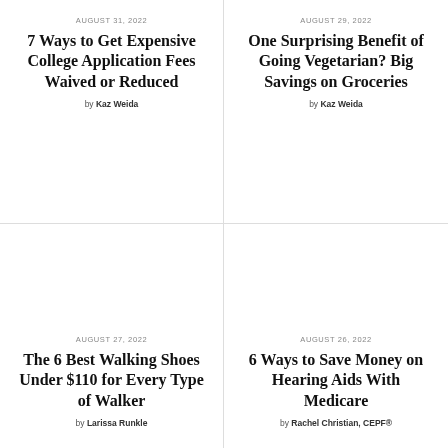AUGUST 31, 2022
7 Ways to Get Expensive College Application Fees Waived or Reduced
by Kaz Weida
AUGUST 29, 2022
One Surprising Benefit of Going Vegetarian? Big Savings on Groceries
by Kaz Weida
AUGUST 27, 2022
The 6 Best Walking Shoes Under $110 for Every Type of Walker
by Larissa Runkle
AUGUST 26, 2022
6 Ways to Save Money on Hearing Aids With Medicare
by Rachel Christian, CEPF®